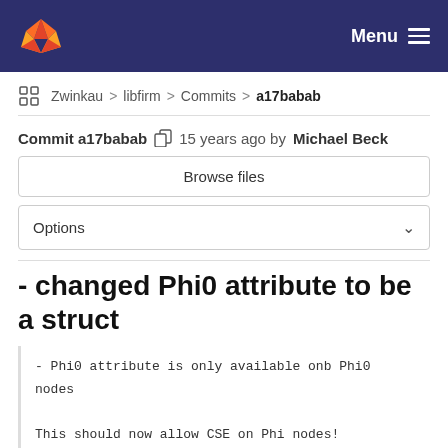Menu
Zwinkau > libfirm > Commits > a17babab
Commit a17babab  15 years ago by Michael Beck
Browse files
Options
- changed Phi0 attribute to be a struct
- Phi0 attribute is only available onb Phi0 nodes

This should now allow CSE on Phi nodes!

[r14002]
Imprint